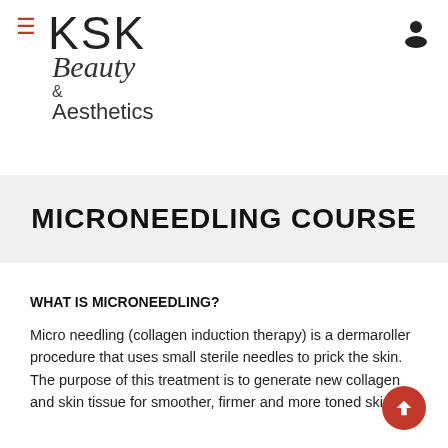[Figure (logo): KSK Beauty & Aesthetics logo with hamburger menu icon on left and user icon on right]
MICRONEEDLING COURSE
WHAT IS MICRONEEDLING?
Micro needling (collagen induction therapy) is a dermaroller procedure that uses small sterile needles to prick the skin. The purpose of this treatment is to generate new collagen and skin tissue for smoother, firmer and more toned skin.